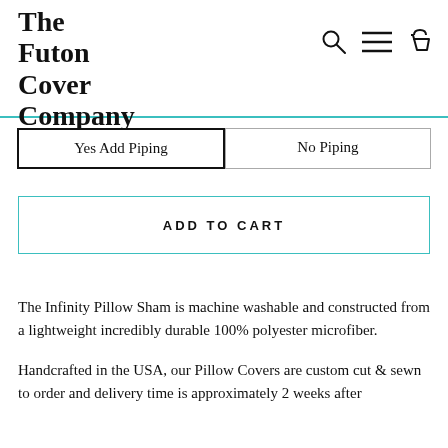The Futon Cover Company
Yes Add Piping   No Piping
ADD TO CART
The Infinity Pillow Sham is machine washable and constructed from a lightweight incredibly durable 100% polyester microfiber.
Handcrafted in the USA, our Pillow Covers are custom cut & sewn to order and delivery time is approximately 2 weeks after